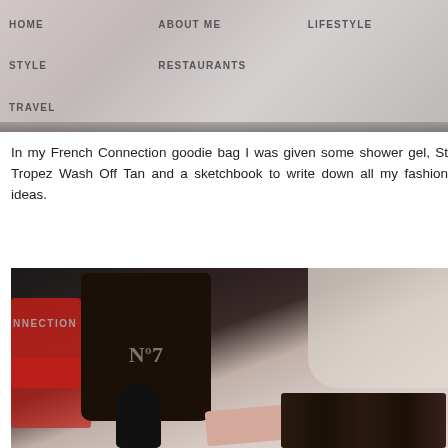HOME | ABOUT ME | LIFESTYLE | STYLE | RESTAURANTS | TRAVEL
In my French Connection goodie bag I was given some shower gel, St Tropez Wash Off Tan and a sketchbook to write down all my fashion ideas.
[Figure (photo): Photo of a No7 branded black bag, a dark bottle with red logo, a pink rolled item, and several dark makeup brushes arranged on a light surface, with red items in the background.]